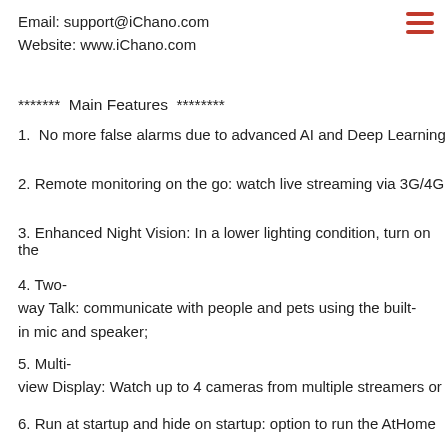Email: support@iChano.com
Website: www.iChano.com
******* Main Features ********
1.  No more false alarms due to advanced AI and Deep Learning
2. Remote monitoring on the go: watch live streaming via 3G/4G
3. Enhanced Night Vision: In a lower lighting condition, turn on the
4. Two-way Talk: communicate with people and pets using the built-in mic and speaker;
5. Multi-view Display: Watch up to 4 cameras from multiple streamers or
6. Run at startup and hide on startup: option to run the AtHome